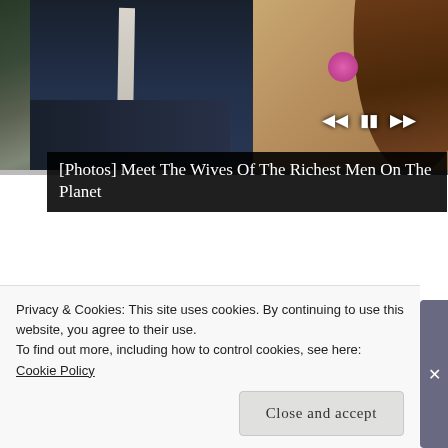[Figure (photo): Photo of a man in a dark suit with a light tie and a woman in a textured top with a pink flower, seated side by side against a dark background. Slideshow controls (previous, pause, next) are visible. A progress bar is shown at the bottom of the image.]
[Photos] Meet The Wives Of The Richest Men On The Planet
[Figure (photo): Thumbnail photo of a hand holding a small object (medication/pill), photographed outdoors with a blurred green background.]
Finding the Right Meds for Your PsO Skin
Privacy & Cookies: This site uses cookies. By continuing to use this website, you agree to their use.
To find out more, including how to control cookies, see here: Cookie Policy
Close and accept